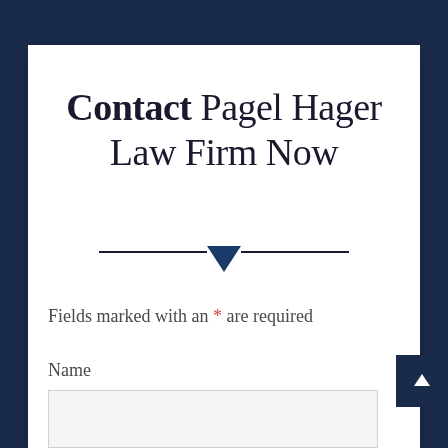Contact Pagel Hager Law Firm Now
Fields marked with an * are required
Name
Email *